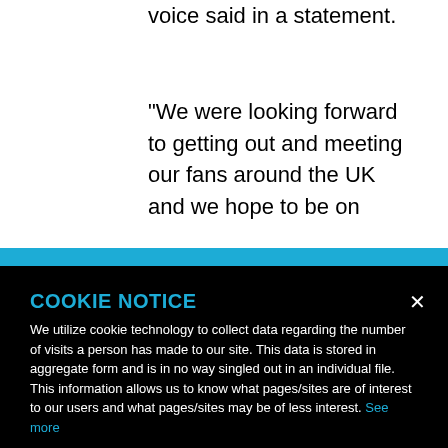voice said in a statement.

“We were looking forward to getting out and meeting our fans around the UK and we hope to be on
COOKIE NOTICE
We utilize cookie technology to collect data regarding the number of visits a person has made to our site. This data is stored in aggregate form and is in no way singled out in an individual file. This information allows us to know what pages/sites are of interest to our users and what pages/sites may be of less interest. See more